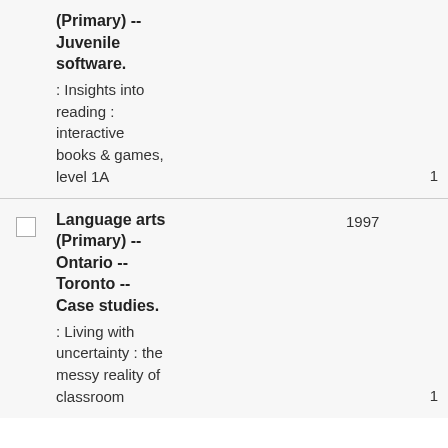(Primary) -- Juvenile software.
: Insights into reading : interactive books & games, level 1A
Language arts (Primary) -- Ontario -- Toronto -- Case studies.
: Living with uncertainty : the messy reality of classroom